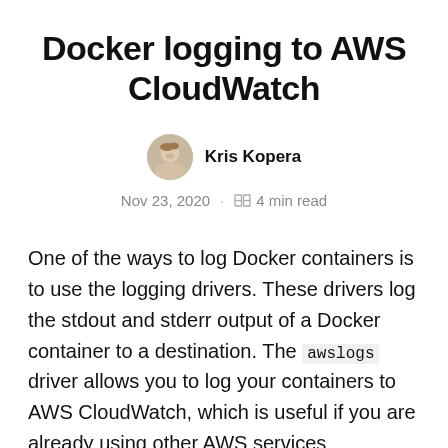Docker logging to AWS CloudWatch
[Figure (photo): Circular avatar photo of author Kris Kopera, a bald man smiling]
Kris Kopera
Nov 23, 2020 · 4 min read
One of the ways to log Docker containers is to use the logging drivers. These drivers log the stdout and stderr output of a Docker container to a destination. The awslogs driver allows you to log your containers to AWS CloudWatch, which is useful if you are already using other AWS services